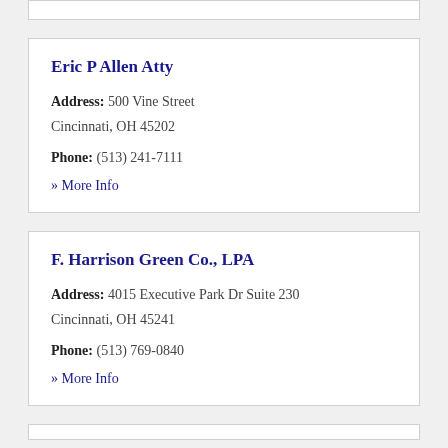Eric P Allen Atty
Address: 500 Vine Street Cincinnati, OH 45202
Phone: (513) 241-7111
» More Info
F. Harrison Green Co., LPA
Address: 4015 Executive Park Dr Suite 230 Cincinnati, OH 45241
Phone: (513) 769-0840
» More Info